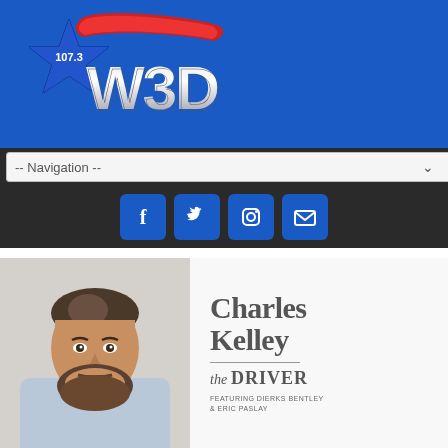[Figure (logo): 107.3 W3D radio station logo with blue star and red banner on blue background]
-- Navigation --
[Figure (infographic): Social media icons: Facebook, Twitter, Instagram, Email on dark background]
[Figure (photo): Charles Kelley artist photo - man with beard and short hair looking at camera]
Charles Kelley the DRIVER Featuring DIERKS BENTLEY & ERIC PASLAY